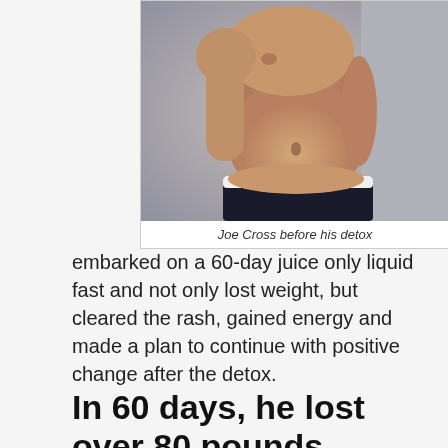[Figure (photo): A shirtless overweight man shown from the side, displaying a large belly, wearing dark shorts with white underwear waistband visible.]
Joe Cross before his detox
embarked on a 60-day juice only liquid fast and not only lost weight, but cleared the rash, gained energy and made a plan to continue with positive change after the detox.
In 60 days, he lost over 80 pounds.